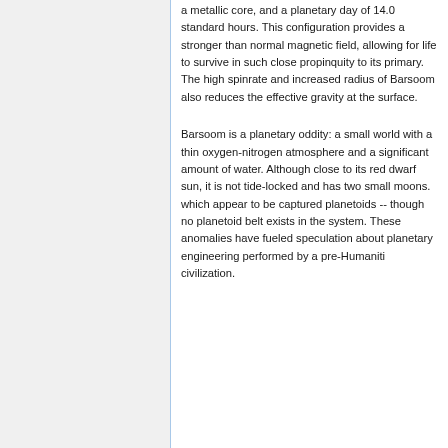a metallic core, and a planetary day of 14.0 standard hours. This configuration provides a stronger than normal magnetic field, allowing for life to survive in such close propinquity to its primary. The high spinrate and increased radius of Barsoom also reduces the effective gravity at the surface.
Barsoom is a planetary oddity: a small world with a thin oxygen-nitrogen atmosphere and a significant amount of water. Although close to its red dwarf sun, it is not tide-locked and has two small moons. which appear to be captured planetoids -- though no planetoid belt exists in the system. These anomalies have fueled speculation about planetary engineering performed by a pre-Humaniti civilization.